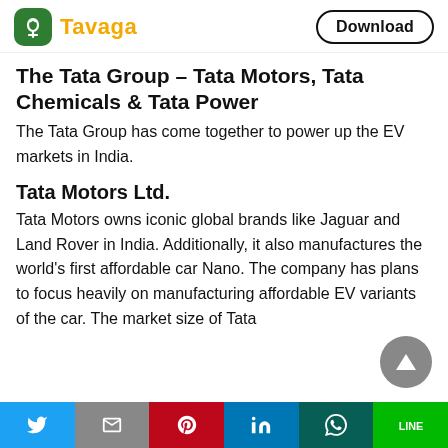Tavaga | Download
The Tata Group – Tata Motors, Tata Chemicals & Tata Power
The Tata Group has come together to power up the EV markets in India.
Tata Motors Ltd.
Tata Motors owns iconic global brands like Jaguar and Land Rover in India. Additionally, it also manufactures the world's first affordable car Nano. The company has plans to focus heavily on manufacturing affordable EV variants of the car. The market size of Tata